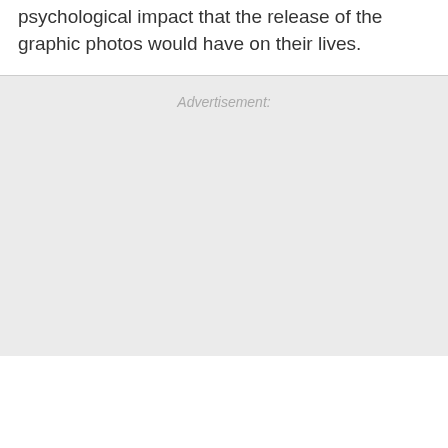psychological impact that the release of the graphic photos would have on their lives.
Advertisement: